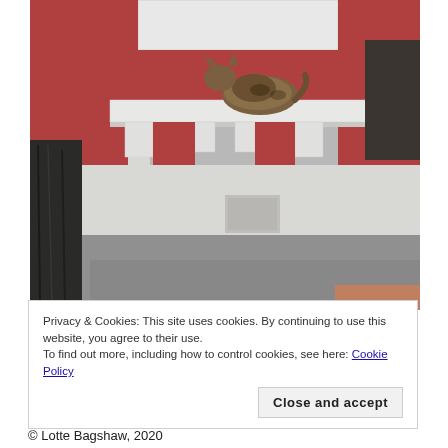[Figure (photo): A tabby cat perched on a white window ledge of a red brick building. Below the ledge are decorative white corbels. The lower portion shows a white rendered base, a concrete path/step, and a weathered black wooden post in the foreground left.]
Privacy & Cookies: This site uses cookies. By continuing to use this website, you agree to their use.
To find out more, including how to control cookies, see here: Cookie Policy
Close and accept
© Lotte Bagshaw, 2020